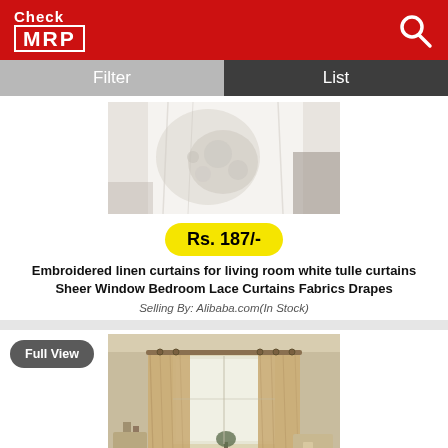[Figure (logo): Check MRP logo - red background with white text]
Filter   List
[Figure (photo): White embroidered lace/tulle curtain fabric close-up]
Rs. 187/-
Embroidered linen curtains for living room white tulle curtains Sheer Window Bedroom Lace Curtains Fabrics Drapes
Selling By: Alibaba.com(In Stock)
[Figure (photo): Brown/tan lace sheer curtains hanging in a living room with window, natural light, room furniture visible]
Full View